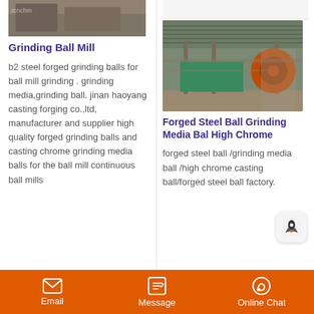[Figure (photo): Partial view of industrial grinding ball mill equipment, top portion cropped]
Grinding Ball Mill
b2 steel forged grinding balls for ball mill grinding . grinding media,grinding ball. jinan haoyang casting forging co.,ltd, manufacturer and supplier high quality forged grinding balls and casting chrome grinding media balls for the ball mill continuous ball mills
[Figure (photo): Industrial ball mills in an outdoor facility with corrugated roof, showing green cylindrical grinding mills and orange/red circular components]
Forged Steel Ball Grinding Media Bal High Chrome
forged steel ball /grinding media ball /high chrome casting ball/forged steel ball factory.
Email   Message   Online Chat